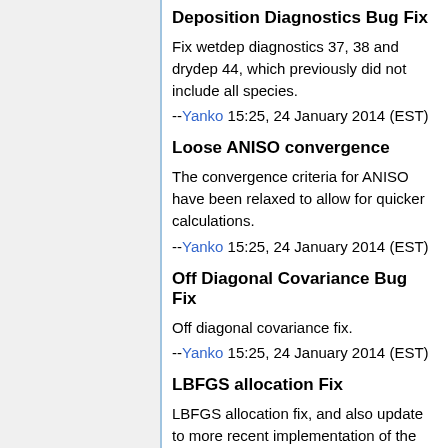Deposition Diagnostics Bug Fix
Fix wetdep diagnostics 37, 38 and drydep 44, which previously did not include all species.
--Yanko 15:25, 24 January 2014 (EST)
Loose ANISO convergence
The convergence criteria for ANISO have been relaxed to allow for quicker calculations.
--Yanko 15:25, 24 January 2014 (EST)
Off Diagonal Covariance Bug Fix
Off diagonal covariance fix.
--Yanko 15:25, 24 January 2014 (EST)
LBFGS allocation Fix
LBFGS allocation fix, and also update to more recent implementation of the